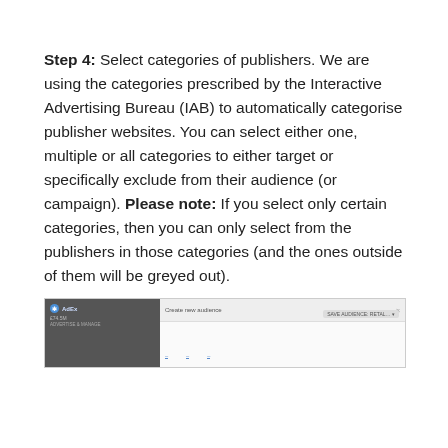Step 4: Select categories of publishers. We are using the categories prescribed by the Interactive Advertising Bureau (IAB) to automatically categorise publisher websites. You can select either one, multiple or all categories to either target or specifically exclude from their audience (or campaign). Please note: If you select only certain categories, then you can only select from the publishers in those categories (and the ones outside of them will be greyed out).
[Figure (screenshot): Screenshot of an advertising platform interface showing a dialog titled 'Create new audience' with a close button, left sidebar with navigation, and tab options below.]